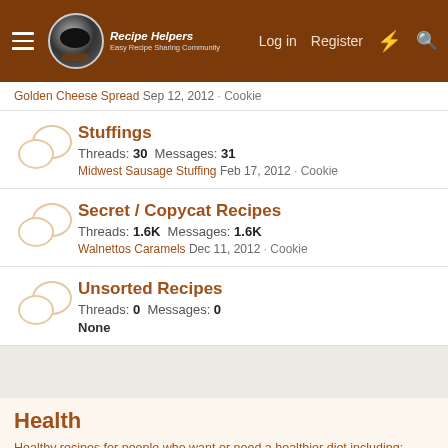Recipe Helpers - Easy Recipe Sharing Community | Log in | Register
Golden Cheese Spread Sep 12, 2012 · Cookie
Stuffings
Threads: 30 Messages: 31
Midwest Sausage Stuffing Feb 17, 2012 · Cookie
Secret / Copycat Recipes
Threads: 1.6K Messages: 1.6K
Walnettos Caramels Dec 11, 2012 · Cookie
Unsorted Recipes
Threads: 0 Messages: 0
None
Health
Healthy recipes for people who want or need a healthier diet including: Vegetarian recipes, low fat recipes, Weight Watchers recipes, low carb recipes